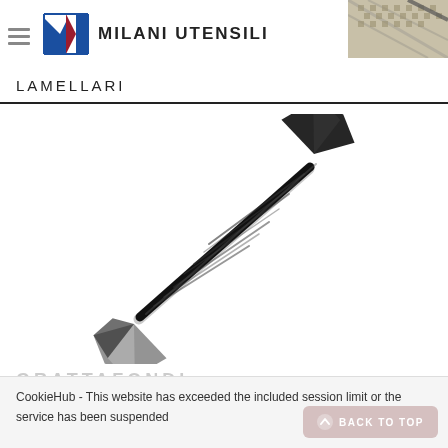[Figure (logo): Milani Utensili logo with stylized M in blue and red, accompanied by brand name text MILANI UTENSILI]
[Figure (photo): Partial view of a textured metal/mesh product in top right corner]
LAMELLARI
[Figure (photo): A black double-ended lamellar grattafondi (scraper) tool with flared/fan-shaped ends on both sides and a twisted handle, shown diagonally on white background]
GRATTAFONDI
CookieHub - This website has exceeded the included session limit or the service has been suspended
BACK TO TOP